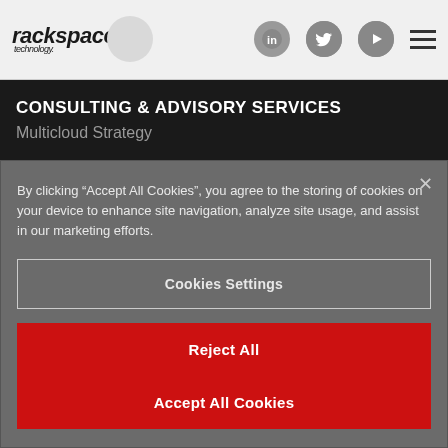rackspace technology | LinkedIn | Twitter | YouTube | Menu
CONSULTING & ADVISORY SERVICES
Multicloud Strategy
By clicking “Accept All Cookies”, you agree to the storing of cookies on your device to enhance site navigation, analyze site usage, and assist in our marketing efforts.
Cookies Settings
Reject All
Accept All Cookies